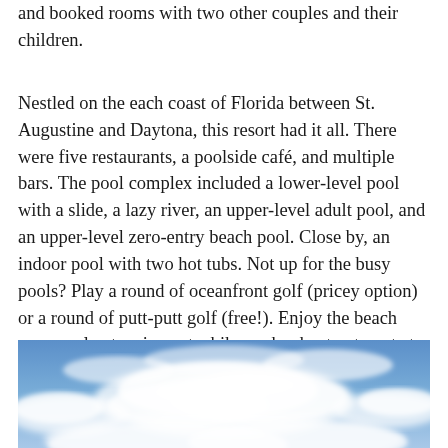and booked rooms with two other couples and their children.
Nestled on the each coast of Florida between St. Augustine and Daytona, this resort had it all. There were five restaurants, a poolside café, and multiple bars. The pool complex included a lower-level pool with a slide, a lazy river, an upper-level adult pool, and an upper-level zero-entry beach pool. Close by, an indoor pool with two hot tubs. Not up for the busy pools? Play a round of oceanfront golf (pricey option) or a round of putt-putt golf (free!). Enjoy the beach access, play tennis, rent a bike, or book a treatment at the spa and wellness center.
[Figure (photo): A photo of a blue sky with white clouds, taken from below looking upward.]